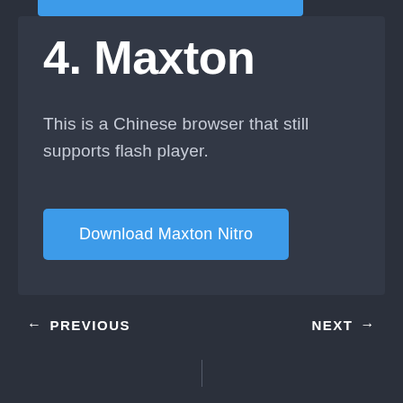4. Maxton
This is a Chinese browser that still supports flash player.
Download Maxton Nitro
← PREVIOUS    NEXT →